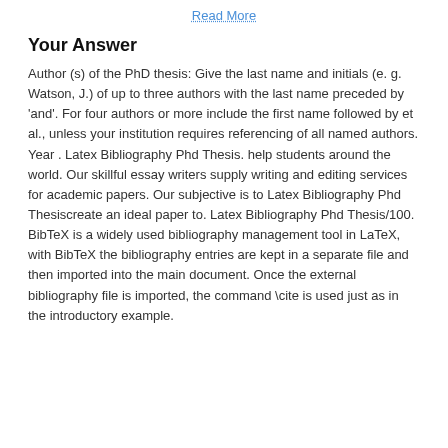Read More
Your Answer
Author (s) of the PhD thesis: Give the last name and initials (e. g. Watson, J.) of up to three authors with the last name preceded by 'and'. For four authors or more include the first name followed by et al., unless your institution requires referencing of all named authors. Year . Latex Bibliography Phd Thesis. help students around the world. Our skillful essay writers supply writing and editing services for academic papers. Our subjective is to Latex Bibliography Phd Thesiscreate an ideal paper to. Latex Bibliography Phd Thesis/100. BibTeX is a widely used bibliography management tool in LaTeX, with BibTeX the bibliography entries are kept in a separate file and then imported into the main document. Once the external bibliography file is imported, the command \cite is used just as in the introductory example.